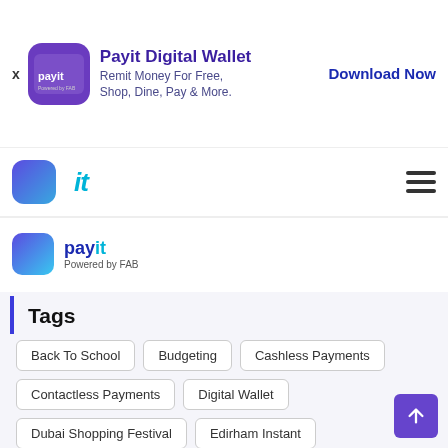[Figure (logo): Payit Digital Wallet ad banner with app icon, title, subtitle and Download Now button]
[Figure (logo): Navigation bar with payit logo icon, 'it' text and hamburger menu]
[Figure (logo): Payit Powered by FAB logo]
Tags
Back To School
Budgeting
Cashless Payments
Contactless Payments
Digital Wallet
Dubai Shopping Festival
Edirham Instant
Ewallet
Expats In UAE
Expo 2020
Financial Literacy
Financial Tips
Governmental Payments
Mobile Recharge